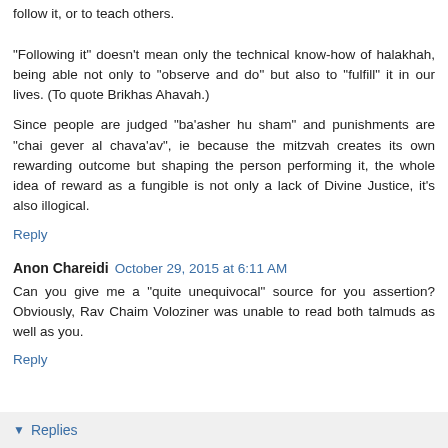follow it, or to teach others. "Following it" doesn't mean only the technical know-how of halakhah, being able not only to "observe and do" but also to "fulfill" it in our lives. (To quote Brikhas Ahavah.)
Since people are judged "ba'asher hu sham" and punishments are "chai gever al chava'av", ie because the mitzvah creates its own rewarding outcome but shaping the person performing it, the whole idea of reward as a fungible is not only a lack of Divine Justice, it's also illogical.
Reply
Anon Chareidi  October 29, 2015 at 6:11 AM
Can you give me a "quite unequivocal" source for you assertion? Obviously, Rav Chaim Voloziner was unable to read both talmuds as well as you.
Reply
Replies